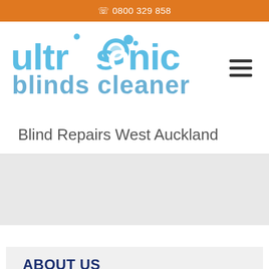☎ 0800 329 858
[Figure (logo): Ultrasonic Blinds Cleaners logo with blue bubble lettering and orange tagline]
Blind Repairs West Auckland
[Figure (other): Gray placeholder content/ad area]
ABOUT US
Blind Repairs West Auckland